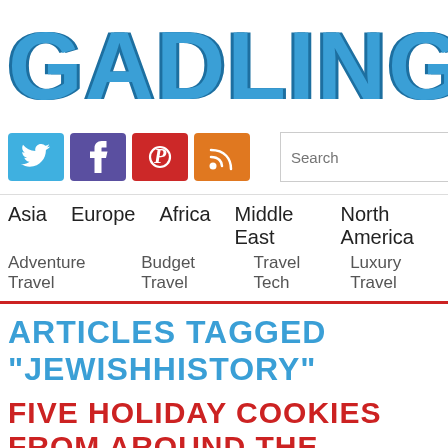GADLING
[Figure (logo): Social media icons: Twitter (blue), Facebook (purple), Pinterest (red), RSS (orange)]
Search  SEARCH
Asia  Europe  Africa  Middle East  North America
Adventure Travel  Budget Travel  Travel Tech  Luxury Travel
ARTICLES TAGGED "JEWISHHISTORY"
FIVE HOLIDAY COOKIES FROM AROUND THE WORLD